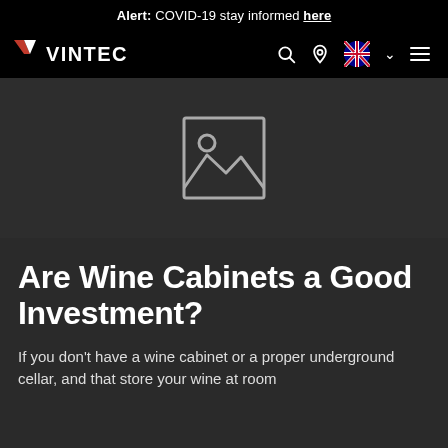Alert: COVID-19 stay informed here
[Figure (logo): Vintec logo with navigation icons: search, location, Australian flag with dropdown, and hamburger menu]
[Figure (photo): Image placeholder icon (broken image / no image loaded) showing mountain landscape outline]
Are Wine Cabinets a Good Investment?
If you don't have a wine cabinet or a proper underground cellar, and that store your wine at room